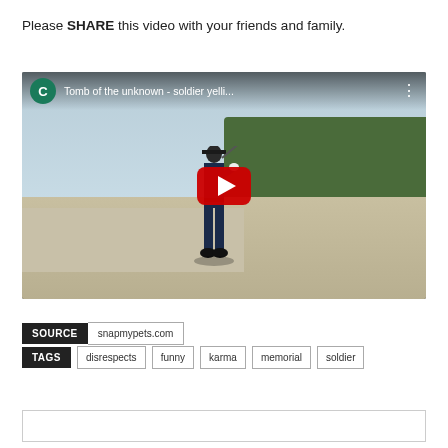Please SHARE this video with your friends and family.
[Figure (screenshot): YouTube video thumbnail showing a military guard at the Tomb of the Unknown Soldier, with title 'Tomb of the unknown - soldier yelli...' and a red YouTube play button overlay]
SOURCE snapmypets.com
TAGS disrespects funny karma memorial soldier